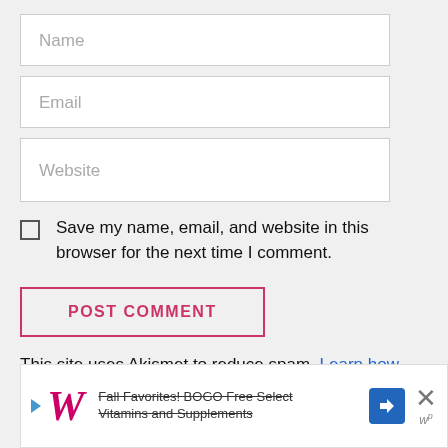[Figure (screenshot): Name input field (text box with placeholder 'Name')]
[Figure (screenshot): Email input field (text box with placeholder 'Email')]
[Figure (screenshot): Website input field (text box with placeholder 'Website')]
Save my name, email, and website in this browser for the next time I comment.
[Figure (screenshot): POST COMMENT button with pink/magenta border and text]
This site uses Akismet to reduce spam. Learn how your comment data is processed.
[Figure (infographic): Walgreens advertisement banner: Fall Favorites! BOGO Free Select Vitamins and Supplements]